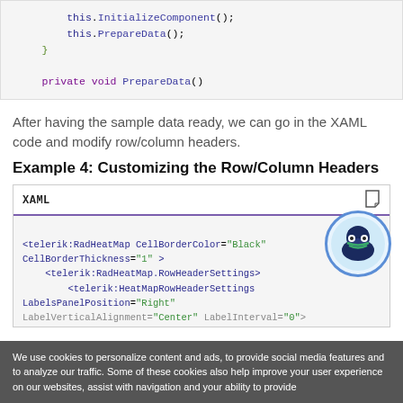[Figure (screenshot): Code block showing C# constructor with this.InitializeComponent() and this.PrepareData() calls, and a private void PrepareData() method signature]
After having the sample data ready, we can go in the XAML code and modify row/column headers.
Example 4: Customizing the Row/Column Headers
[Figure (screenshot): XAML code editor tab showing RadHeatMap XML with CellBorderColor='Black', CellBorderThickness='1', RowHeaderSettings with HeatMapRowHeaderSettings, LabelsPanelPosition='Right', LabelVerticalAlignment='Center', LabelInterval='0']
We use cookies to personalize content and ads, to provide social media features and to analyze our traffic. Some of these cookies also help improve your user experience on our websites, assist with navigation and your ability to provide